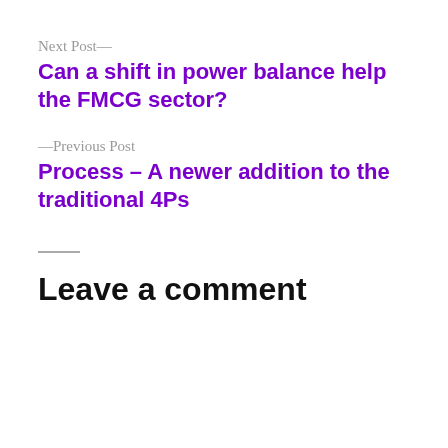Next Post—
Can a shift in power balance help the FMCG sector?
—Previous Post
Process – A newer addition to the traditional 4Ps
Leave a comment